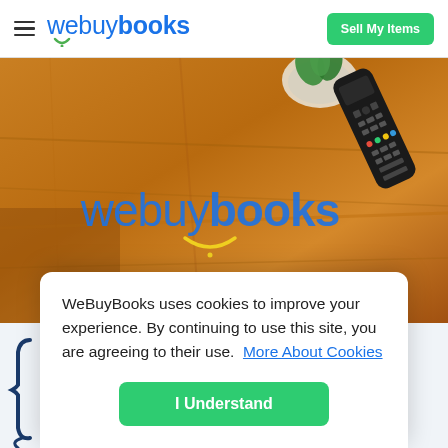webuybooks  Sell My Items
[Figure (photo): WeBuyBooks hero banner: wooden table surface with a TV remote control and a small plant in a bowl. The webuybooks logo is overlaid in blue text on the wood background.]
WeBuyBooks uses cookies to improve your experience. By continuing to use this site, you are agreeing to their use.  More About Cookies
I Understand